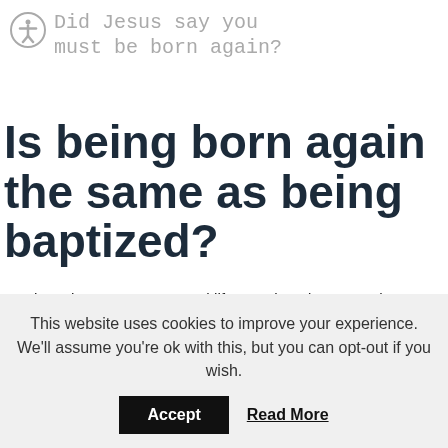Did Jesus say you must be born again?
Is being born again the same as being baptized?
Baptism gives us supernatural life. Baptism does not take away only the original sin, but as in the case of an adult, it takes away all sins committed up to that moment of baptism and the person has a new beginning – born again, adopted child of God and heir to the kingdom of
This website uses cookies to improve your experience. We'll assume you're ok with this, but you can opt-out if you wish.
Accept  Read More